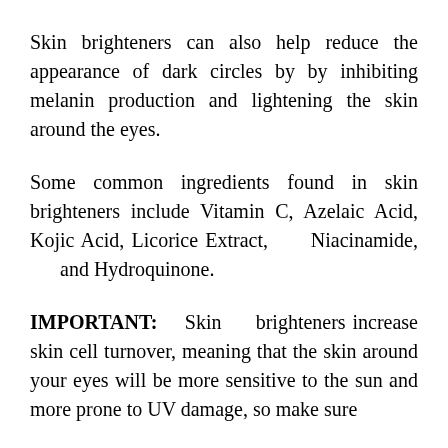Skin brighteners can also help reduce the appearance of dark circles by by inhibiting melanin production and lightening the skin around the eyes.
Some common ingredients found in skin brighteners include Vitamin C, Azelaic Acid, Kojic Acid, Licorice Extract, Niacinamide, and Hydroquinone.
IMPORTANT: Skin brighteners increase skin cell turnover, meaning that the skin around your eyes will be more sensitive to the sun and more prone to UV damage, so make sure